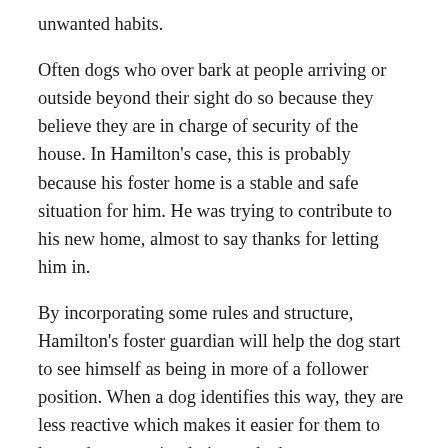unwanted habits.
Often dogs who over bark at people arriving or outside beyond their sight do so because they believe they are in charge of security of the house. In Hamilton's case, this is probably because his foster home is a stable and safe situation for him. He was trying to contribute to his new home, almost to say thanks for letting him in.
By incorporating some rules and structure, Hamilton's foster guardian will help the dog start to see himself as being in more of a follower position. When a dog identifies this way, they are less reactive which makes it easier for them to leave door security duties to the humans.
Next I suggested that Hamilton's foster guardian stop petting him when he jumped up on them and instead pet the dog for following a basic command like sit, come or lay down. By petting the dog for these actions, we can encourage the dog to engage in them in the future as a way of getting the attention or affection from a human.